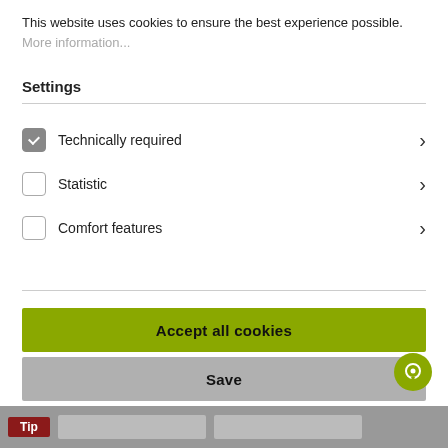This website uses cookies to ensure the best experience possible.
More information...
Settings
Technically required
Statistic
Comfort features
Accept all cookies
Save